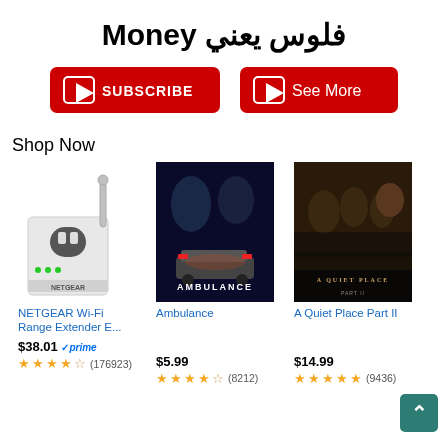فلوس يعني Money
[Figure (other): YouTube Subscribe button (red)]
[Figure (other): YouTube See More button (red)]
Shop Now
[Figure (other): NETGEAR Wi-Fi Range Extender product image]
NETGEAR Wi-Fi Range Extender E...
$38.01 ✓prime
★★★★☆ (176923)
[Figure (other): Ambulance movie poster]
Ambulance
$5.99
★★★★☆ (8212)
[Figure (other): A Quiet Place Part II movie poster]
A Quiet Place Part II
$14.99
★★★★★ (9436)